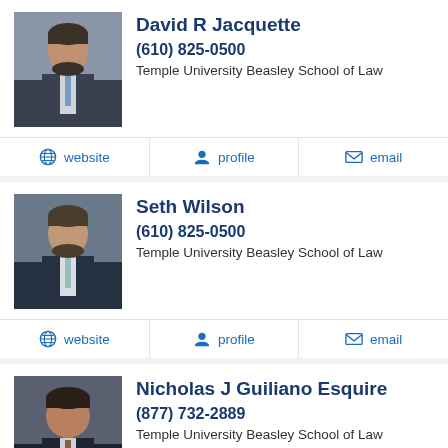[Figure (photo): Headshot of David R Jacquette, man in suit]
David R Jacquette
(610) 825-0500
Temple University Beasley School of Law
website  profile  email
[Figure (photo): Headshot of Seth Wilson, man in suit]
Seth Wilson
(610) 825-0500
Temple University Beasley School of Law
website  profile  email
[Figure (photo): Headshot of Nicholas J Guiliano Esquire, man in suit]
Nicholas J Guiliano Esquire
(877) 732-2889
Temple University Beasley School of Law